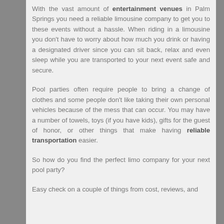With the vast amount of entertainment venues in Palm Springs you need a reliable limousine company to get you to these events without a hassle. When riding in a limousine you don't have to worry about how much you drink or having a designated driver since you can sit back, relax and even sleep while you are transported to your next event safe and secure.
Pool parties often require people to bring a change of clothes and some people don't like taking their own personal vehicles because of the mess that can occur. You may have a number of towels, toys (if you have kids), gifts for the guest of honor, or other things that make having reliable transportation easier.
So how do you find the perfect limo company for your next pool party?
Easy check on a couple of things from cost, reviews, and